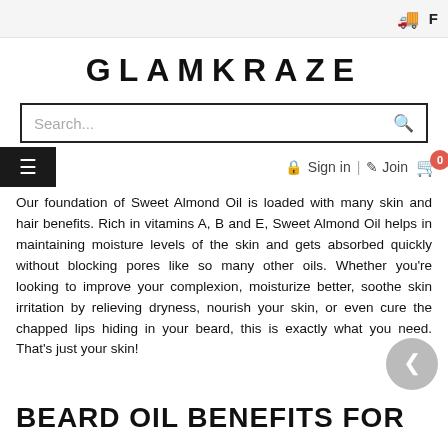F
GLAMKRAZE
Search...
Sign in | Join  0
Our foundation of Sweet Almond Oil is loaded with many skin and hair benefits. Rich in vitamins A, B and E, Sweet Almond Oil helps in maintaining moisture levels of the skin and gets absorbed quickly without blocking pores like so many other oils. Whether you're looking to improve your complexion, moisturize better, soothe skin irritation by relieving dryness, nourish your skin, or even cure the chapped lips hiding in your beard, this is exactly what you need. That's just your skin!
BEARD OIL BENEFITS FOR